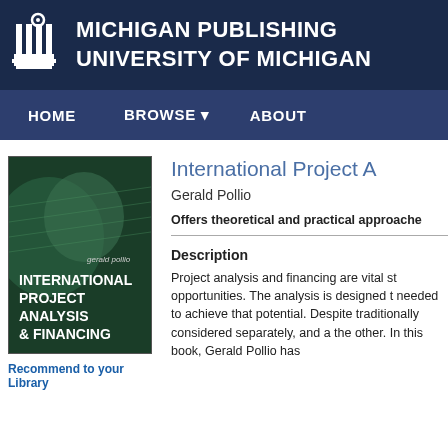MICHIGAN PUBLISHING
UNIVERSITY OF MICHIGAN
HOME   BROWSE   ABOUT
[Figure (illustration): Book cover of 'International Project Analysis & Financing' by Gerald Pollio, dark blue/green cover with globe imagery]
International Project A
Gerald Pollio
Offers theoretical and practical approache
Description
Project analysis and financing are vital st opportunities. The analysis is designed t needed to achieve that potential. Despite traditionally considered separately, and a the other. In this book, Gerald Pollio has
Recommend to your Library